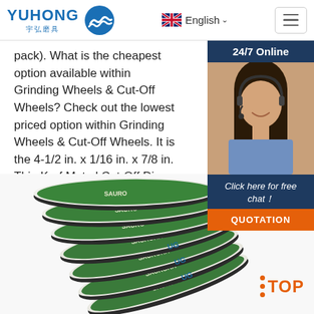[Figure (logo): Yuhong logo with blue wave icon and Chinese characters 宇弘磨具]
English
pack). What is the cheapest option available within Grinding Wheels & Cut-Off Wheels? Check out the lowest priced option within Grinding Wheels & Cut-Off Wheels. It is the 4-1/2 in. x 1/16 in. x 7/8 in. Thin Kerf Metal Cut-Off Disc by Avanti Pro.
[Figure (other): 24/7 Online chat widget with female agent photo, 'Click here for free chat!' text, and QUOTATION button]
Get Price
[Figure (photo): Stack of SAURORA brand grinding/cut-off discs (green and white label) fanned out, photographed from above at an angle]
TOP